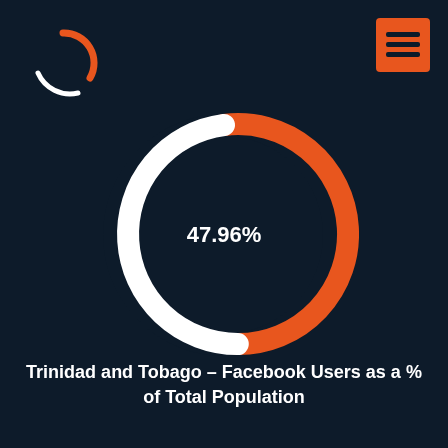[Figure (logo): Circular logo icon in orange and white arcs, top-left corner]
[Figure (other): Orange hamburger menu icon (three horizontal lines) in orange square, top-right corner]
[Figure (donut-chart): Trinidad and Tobago – Facebook Users as a % of Total Population]
Trinidad and Tobago – Facebook Users as a % of Total Population